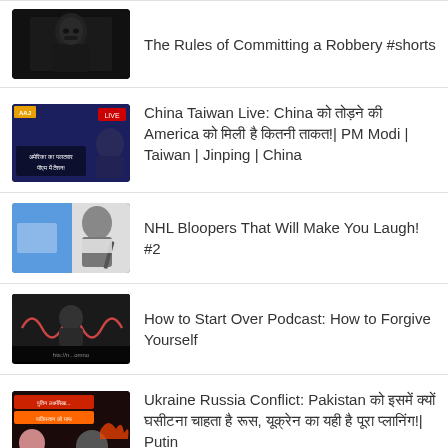The Rules of Committing a Robbery #shorts
China Taiwan Live: China को तोड़ने की America को मिली है कितनी ताकत!| PM Modi | Taiwan | Jinping | China
NHL Bloopers That Will Make You Laugh! #2
How to Start Over Podcast: How to Forgive Yourself
Ukraine Russia Conflict: Pakistan को इसमें क्यों घसीटना चाहता है, रूस, यूक्रेन का यही है पूरा प्लानिंग!| Putin
[Figure (screenshot): Partial thumbnail visible at bottom]